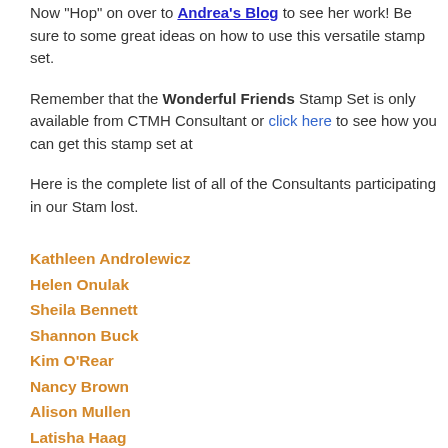Now "Hop" on over to Andrea's Blog to see her work! Be sure to some great ideas on how to use this versatile stamp set.
Remember that the Wonderful Friends Stamp Set is only available from CTMH Consultant or click here to see how you can get this stamp set at
Here is the complete list of all of the Consultants participating in our Stam lost.
Kathleen Androlewicz
Helen Onulak
Sheila Bennett
Shannon Buck
Kim O'Rear
Nancy Brown
Alison Mullen
Latisha Haag
Laurie Newton
Jody Gustafson
Annette Green
Chris Shouse